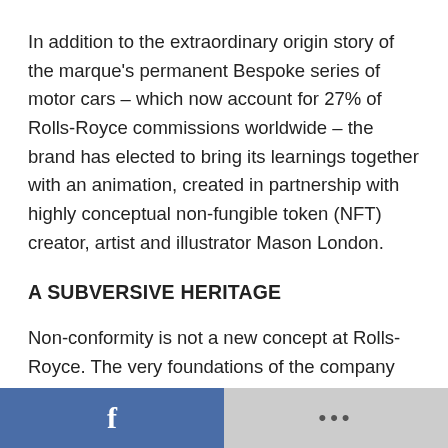In addition to the extraordinary origin story of the marque's permanent Bespoke series of motor cars – which now account for 27% of Rolls-Royce commissions worldwide – the brand has elected to bring its learnings together with an animation, created in partnership with highly conceptual non-fungible token (NFT) creator, artist and illustrator Mason London.
A SUBVERSIVE HERITAGE
Non-conformity is not a new concept at Rolls-Royce. The very foundations of the company
f   ...